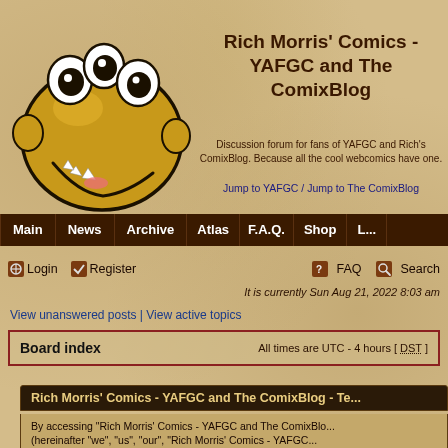Rich Morris' Comics - YAFGC and The ComixBlog
Discussion forum for fans of YAFGC and Rich's ComixBlog. Because all the cool webcomics have one.
Jump to YAFGC / Jump to The ComixBlog
Main | News | Archive | Atlas | F.A.Q. | Shop | L...
Login  Register  FAQ  Search
It is currently Sun Aug 21, 2022 8:03 am
View unanswered posts | View active topics
Board index    All times are UTC - 4 hours [ DST ]
Rich Morris' Comics - YAFGC and The ComixBlog - Te...
By accessing "Rich Morris' Comics - YAFGC and The ComixBlo... (hereinafter "we", "us", "our", "Rich Morris' Comics - YAFGC...